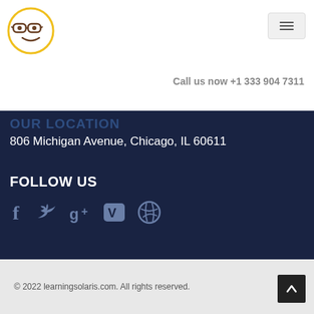[Figure (logo): Circular logo with a smiley face wearing glasses, yellow border, brown/dark icons inside]
[Figure (other): Hamburger menu button (three horizontal lines) in a light gray rounded rectangle]
Call us now +1 333 904 7311
OUR LOCATION
806 Michigan Avenue, Chicago, IL 60611
FOLLOW US
[Figure (illustration): Social media icons: Facebook (f), Twitter (bird), Google+ (g+), Vimeo (V), Dribbble (circle with lines)]
© 2022 learningsolaris.com. All rights reserved.